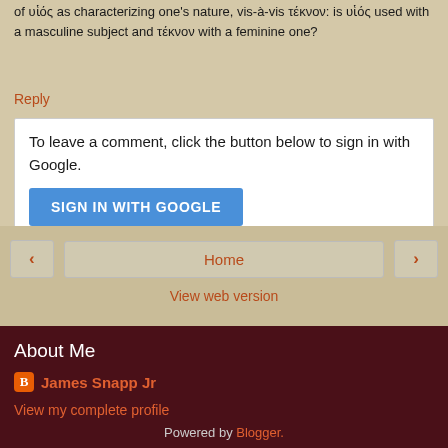of υἱός as characterizing one's nature, vis-à-vis τέκνον: is υἱός used with a masculine subject and τέκνον with a feminine one?
Reply
To leave a comment, click the button below to sign in with Google.
[Figure (screenshot): Blue SIGN IN WITH GOOGLE button]
[Figure (screenshot): Navigation buttons: left arrow, Home, right arrow]
View web version
About Me
James Snapp Jr
View my complete profile
Powered by Blogger.